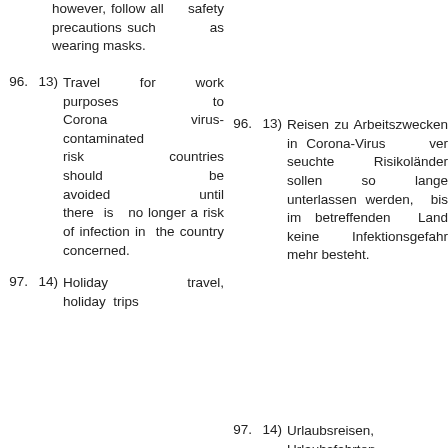however, follow all safety precautions such as wearing masks.
96. 13) Travel for work purposes to Corona virus-contaminated risk countries should be avoided until there is no longer a risk of infection in the country concerned.
96. 13) Reisen zu Arbeitszwecken in Corona-Virus verseuchte Risikoländer sollen so lange unterlassen werden, bis im betreffenden Land keine Infektionsgefahr mehr besteht.
97. 14) Holiday travel, holiday trips
97. 14) Urlaubsreisen, Urlaubsfahrten